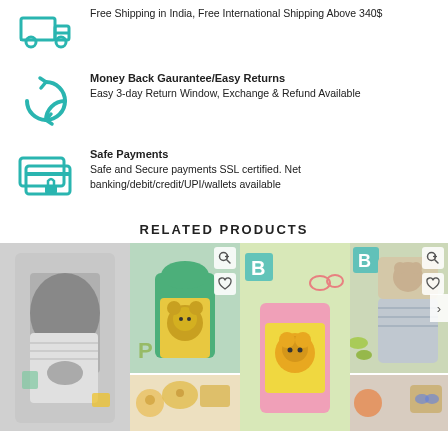[Figure (illustration): Teal truck/delivery icon]
Free Shipping in India, Free International Shipping Above 340$
[Figure (illustration): Teal circular arrows/refresh icon representing returns]
Money Back Gaurantee/Easy Returns
Easy 3-day Return Window, Exchange & Refund Available
[Figure (illustration): Teal credit card with lock icon representing safe payments]
Safe Payments
Safe and Secure payments SSL certified. Net banking/debit/credit/UPI/wallets available
RELATED PRODUCTS
[Figure (photo): Children's clothing product images - baby dungarees and lion costume sets]
[Figure (photo): Children's clothing product images - lion dungaree sets in pink and yellow]
[Figure (photo): Children's clothing product images - baby outfit sets with toys]
[Figure (photo): Children's clothing product image - bottom row of clothing sets]